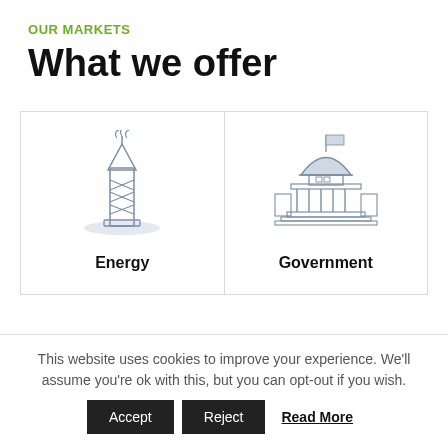OUR MARKETS
What we offer
[Figure (illustration): Oil derrick / energy tower illustration with stylized steam/vapor at top and ground shadow]
Energy
[Figure (illustration): Government capitol building illustration with dome and flag]
Government
This website uses cookies to improve your experience. We'll assume you're ok with this, but you can opt-out if you wish.
Accept
Reject
Read More